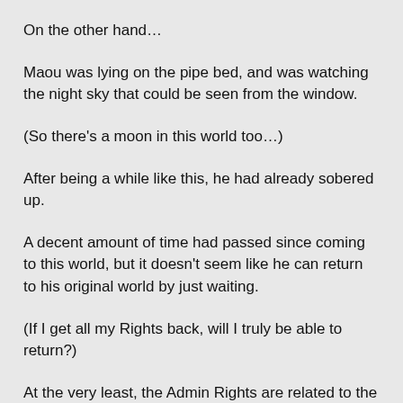On the other hand…
Maou was lying on the pipe bed, and was watching the night sky that could be seen from the window.
(So there's a moon in this world too…)
After being a while like this, he had already sobered up.
A decent amount of time had passed since coming to this world, but it doesn't seem like he can return to his original world by just waiting.
(If I get all my Rights back, will I truly be able to return?)
At the very least, the Admin Rights are related to the game, so there's obviously no command like 'return to